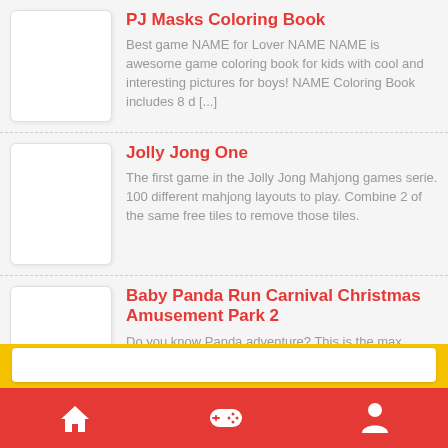PJ Masks Coloring Book — Best game NAME for Lover NAME NAME is awesome game coloring book for kids with cool and interesting pictures for boys! NAME Coloring Book includes 8 d [...]
Jolly Jong One — The first game in the Jolly Jong Mahjong games serie. 100 different mahjong layouts to play. Combine 2 of the same free tiles to remove those tiles.
Baby Panda Run Carnival Christmas Amusement Park 2 — Do you know Panda adventure? This is the max country boy you will play with this game a few days before Christmas, Panda Claus's sleigh was knocked ov [...]
[Figure (screenshot): Bottom navigation bar with home, gamepad, and person icons on red background, with yellow band above and white search bar]